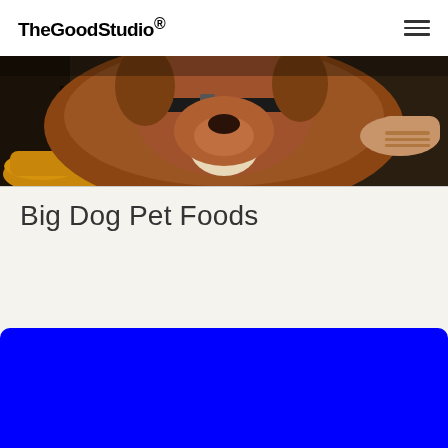TheGoodStudio®
[Figure (photo): Close-up photo of a large brown dog wearing a collar, with a person's hands and yellow shoe visible in the background]
Big Dog Pet Foods
[Figure (other): Solid blue block at the bottom of the page]